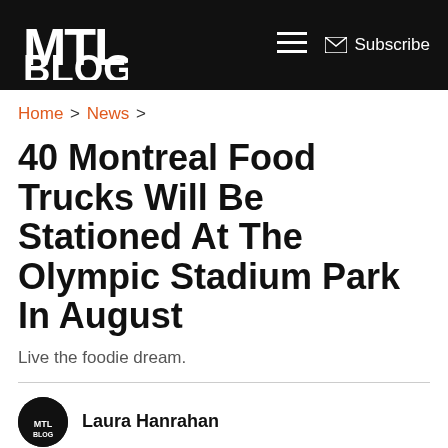MTL Blog — Subscribe
Home > News >
40 Montreal Food Trucks Will Be Stationed At The Olympic Stadium Park In August
Live the foodie dream.
Laura Hanrahan
July 31, 2015, 01:42 PM
That Friday is shaping up to be a great from the